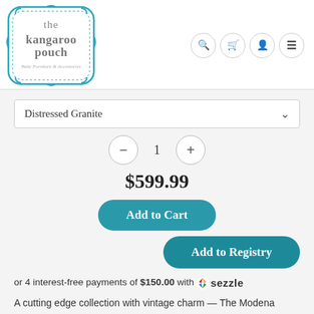[Figure (logo): The Kangaroo Pouch logo — decorative square frame in teal with text 'the kangaroo pouch' and subtitle 'Baby Furniture & Accessories']
[Figure (infographic): Four circular navigation icons: search, cart, user/account, and hamburger menu]
Distressed Granite
1
$599.99
Add to Cart
Add to Registry
or 4 interest-free payments of $150.00 with Sezzle
A cutting edge collection with vintage charm — The Modena